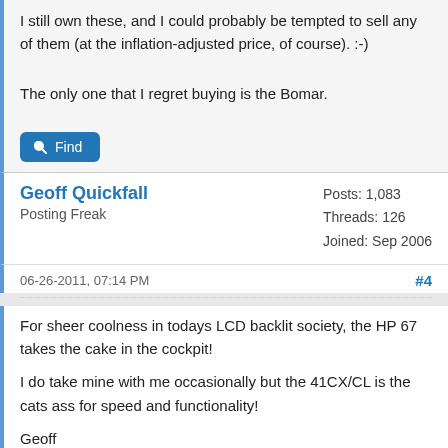I still own these, and I could probably be tempted to sell any of them (at the inflation-adjusted price, of course). :-)
The only one that I regret buying is the Bomar.
[Figure (other): Find button with magnifying glass icon]
Geoff Quickfall
Posting Freak
Posts: 1,083
Threads: 126
Joined: Sep 2006
06-26-2011, 07:14 PM
#4
For sheer coolness in todays LCD backlit society, the HP 67 takes the cake in the cockpit!
I do take mine with me occasionally but the 41CX/CL is the cats ass for speed and functionality!
Geoff
[Figure (photo): Image strip at bottom of post]